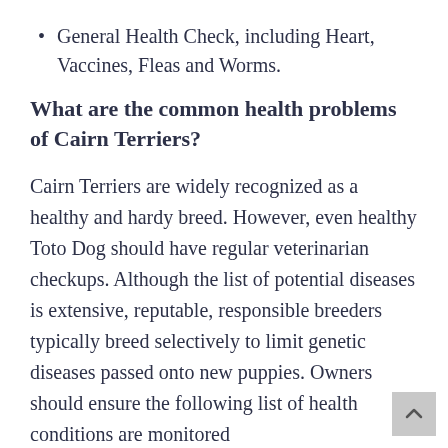General Health Check, including Heart, Vaccines, Fleas and Worms.
What are the common health problems of Cairn Terriers?
Cairn Terriers are widely recognized as a healthy and hardy breed. However, even healthy Toto Dog should have regular veterinarian checkups. Although the list of potential diseases is extensive, reputable, responsible breeders typically breed selectively to limit genetic diseases passed onto new puppies. Owners should ensure the following list of health conditions are monitored